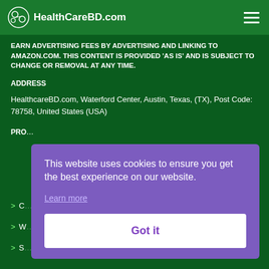HealthCareBD.com
EARN ADVERTISING FEES BY ADVERTISING AND LINKING TO AMAZON.COM. THIS CONTENT IS PROVIDED 'AS IS' AND IS SUBJECT TO CHANGE OR REMOVAL AT ANY TIME.
ADDRESS
HealthcareBD.com, Waterford Center, Austin, Texas, (TX), Post Code: 78758, United States (USA)
PRO…
C…
W…
S…
This website uses cookies to ensure you get the best experience on our website.
Learn more
Got it